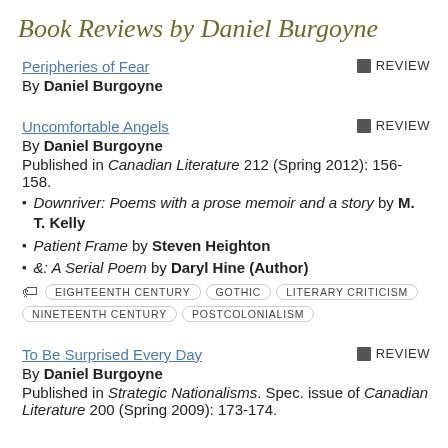Book Reviews by Daniel Burgoyne
Peripheries of Fear
By Daniel Burgoyne
[REVIEW]
Uncomfortable Angels
By Daniel Burgoyne
Published in Canadian Literature 212 (Spring 2012): 156-158.
Downriver: Poems with a prose memoir and a story by M. T. Kelly
Patient Frame by Steven Heighton
&: A Serial Poem by Daryl Hine (Author)
Tags: EIGHTEENTH CENTURY, GOTHIC, LITERARY CRITICISM, NINETEENTH CENTURY, POSTCOLONIALISM
To Be Surprised Every Day
By Daniel Burgoyne
Published in Strategic Nationalisms. Spec. issue of Canadian Literature 200 (Spring 2009): 173-174.